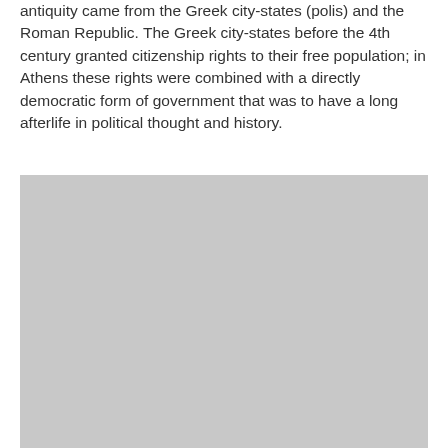antiquity came from the Greek city-states (polis) and the Roman Republic. The Greek city-states before the 4th century granted citizenship rights to their free population; in Athens these rights were combined with a directly democratic form of government that was to have a long afterlife in political thought and history.
[Figure (photo): A large grey placeholder image occupying the lower portion of the page.]